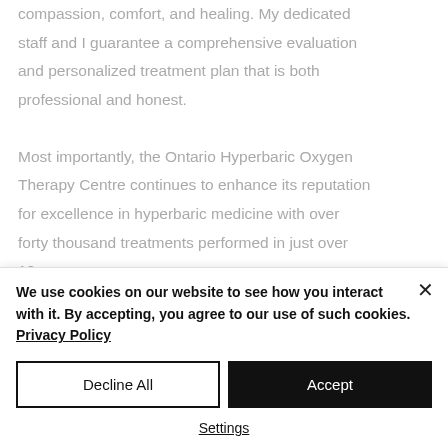compassion, comfort, and healing. My dedicated staff and I guarantee a comprehensive evaluation and personalized treatment plan that is both professional and honest.
Most importantly, the Ontario Hyperbaric Oxygen Therapy Centre continues to enhance its reputation for excellence in hyperbaric medicine with over forty thousand treatments performed in just over 10 years.
Lastly, I would like to thank our patients and their
We use cookies on our website to see how you interact with it. By accepting, you agree to our use of such cookies. Privacy Policy
Decline All
Accept
Settings